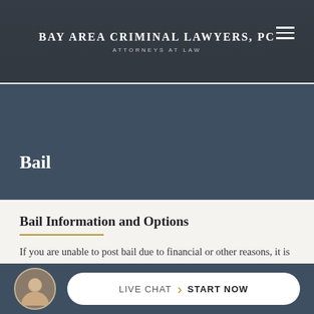BAY AREA CRIMINAL LAWYERS, PC
ATTORNEYS AT LAW
Bail
Bail Information and Options
If you are unable to post bail due to financial or other reasons, it is imperative you contact an experienced Bay Area criminal attorney to assist you in exploring